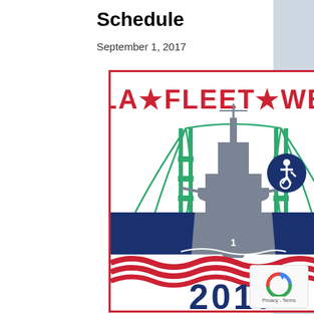Schedule
September 1, 2017
[Figure (logo): LA Fleet Week 2017 logo featuring a naval warship in front of a green suspension bridge (Vincent Thomas Bridge), with red/white wave pattern at the bottom and the year 2017 in navy blue text. The logo has a red border.]
[Figure (illustration): Accessibility/wheelchair icon in a dark blue circle]
[Figure (illustration): reCAPTCHA badge with Privacy - Terms text]